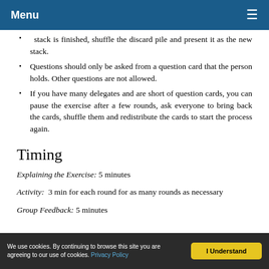Menu
stack is finished, shuffle the discard pile and present it as the new stack.
Questions should only be asked from a question card that the person holds. Other questions are not allowed.
If you have many delegates and are short of question cards, you can pause the exercise after a few rounds, ask everyone to bring back the cards, shuffle them and redistribute the cards to start the process again.
Timing
Explaining the Exercise: 5 minutes
Activity: 3 min for each round for as many rounds as necessary
Group Feedback: 5 minutes
We use cookies. By continuing to browse this site you are agreeing to our use of cookies. Privacy Policy | I Understand